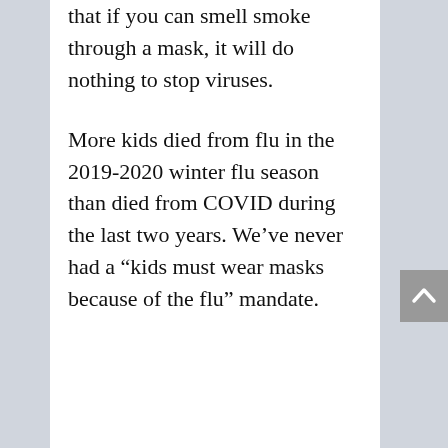that if you can smell smoke through a mask, it will do nothing to stop viruses.
More kids died from flu in the 2019-2020 winter flu season than died from COVID during the last two years. We've never had a “kids must wear masks because of the flu” mandate.